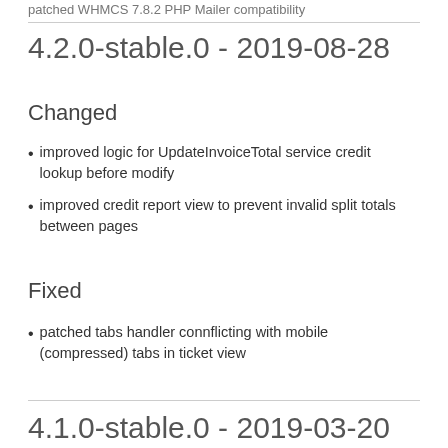patched WHMCS 7.8.2 PHP Mailer compatibility
4.2.0-stable.0 - 2019-08-28
Changed
improved logic for UpdateInvoiceTotal service credit lookup before modify
improved credit report view to prevent invalid split totals between pages
Fixed
patched tabs handler connflicting with mobile (compressed) tabs in ticket view
4.1.0-stable.0 - 2019-03-20